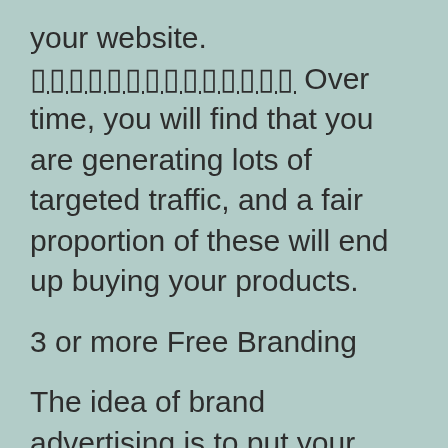your website. ▯▯▯▯▯▯▯▯▯▯▯▯▯▯ Over time, you will find that you are generating lots of targeted traffic, and a fair proportion of these will end up buying your products.
3 or more Free Branding
The idea of brand advertising is to put your website to the forefront of your subject matter. ▯▯▯▯▯▯▯▯▯▯ This means having your website the only one shown on search engines, and having the most powerful keywords. When people are looking for information about what they are seeking, they often use search engines to get